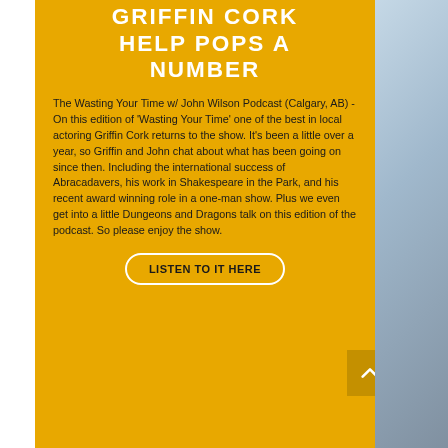GRIFFIN CORK HELP POPS A NUMBER
The Wasting Your Time w/ John Wilson Podcast (Calgary, AB) - On this edition of 'Wasting Your Time' one of the best in local actoring Griffin Cork returns to the show. It's been a little over a year, so Griffin and John chat about what has been going on since then. Including the international success of Abracadavers, his work in Shakespeare in the Park, and his recent award winning role in a one-man show. Plus we even get into a little Dungeons and Dragons talk on this edition of the podcast. So please enjoy the show.
LISTEN TO IT HERE